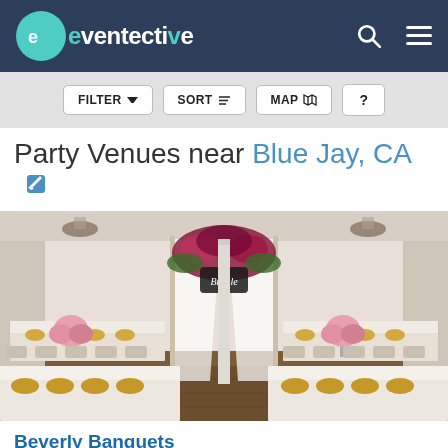eventective
FILTER  SORT  MAP  ?
Party Venues near Blue Jay, CA
[Figure (photo): Interior of Beverly Banquets venue showing long banquet tables set for an event with floral centerpieces, gold charger plates, and sheer white curtains with a floral arch backdrop]
Beverly Banquets
Serving the Blue Jay, CA Area